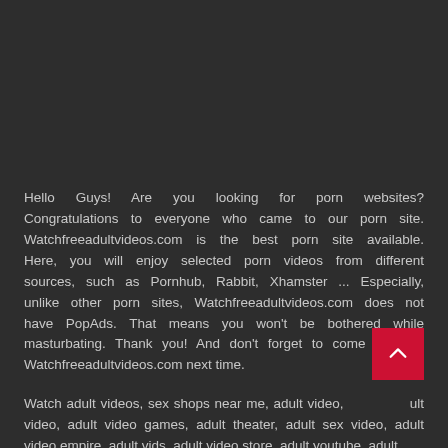Hello Guys! Are you looking for porn websites? Congratulations to everyone who came to our porn site. Watchfreeadultvideos.com is the best porn site available. Here, you will enjoy selected porn videos from different sources, such as Pornhub, Rabbit, Xhamster ... Especially, unlike other porn sites, Watchfreeadultvideos.com does not have PopAds. That means you won't be bothered while masturbating. Thank you! And don't forget to come back to Watchfreeadultvideos.com next time.
Watch adult videos, sex shops near me, adult video, adult video, adult video games, adult theater, adult sex video, adult video empire, adult vids, adult video store, adult youtube, adult